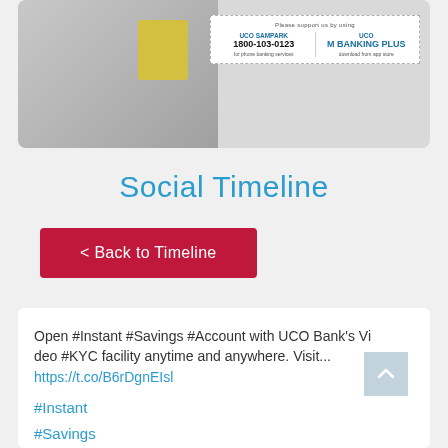[Figure (photo): UCO Bank promotional banner showing a person seated on a sofa with a laptop, alongside a dotted-border info box with UCO SAMPARK 1800-103-0123 for phone banking services and UCO M BANKING PLUS download from app store]
Social Timeline
< Back to Timeline
Open #Instant #Savings #Account with UCO Bank's Video #KYC facility anytime and anywhere. Visit...
https://t.co/B6rDgnEIsl
#Instant
#Savings
#Account
#KYC